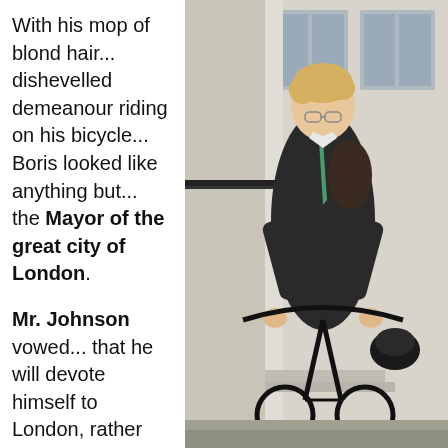With his mop of blond hair... dishevelled demeanour riding on his bicycle... Boris looked like anything but... the Mayor of the great city of London.

Mr. Johnson vowed... that he will devote himself to London, rather than
[Figure (photo): Photo of Boris Johnson riding a bicycle on a London street, wearing a dark coat and green tie with a backpack and helmet on the handlebars.]